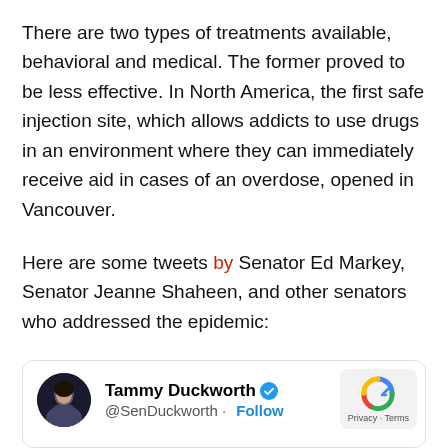There are two types of treatments available, behavioral and medical. The former proved to be less effective. In North America, the first safe injection site, which allows addicts to use drugs in an environment where they can immediately receive aid in cases of an overdose, opened in Vancouver.
Here are some tweets by Senator Ed Markey, Senator Jeanne Shaheen, and other senators who addressed the epidemic:
[Figure (screenshot): Twitter/X card showing Tammy Duckworth (@SenDuckworth) with a blue verified checkmark and a Follow button]